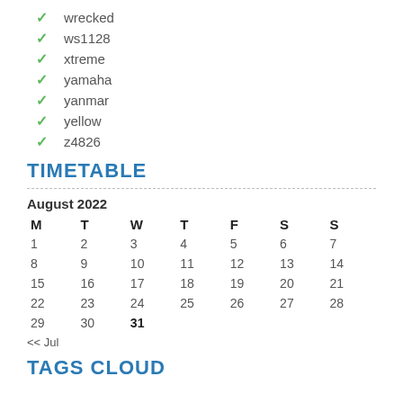wrecked
ws1128
xtreme
yamaha
yanmar
yellow
z4826
TIMETABLE
| M | T | W | T | F | S | S |
| --- | --- | --- | --- | --- | --- | --- |
| 1 | 2 | 3 | 4 | 5 | 6 | 7 |
| 8 | 9 | 10 | 11 | 12 | 13 | 14 |
| 15 | 16 | 17 | 18 | 19 | 20 | 21 |
| 22 | 23 | 24 | 25 | 26 | 27 | 28 |
| 29 | 30 | 31 |  |  |  |  |
<< Jul
TAGS CLOUD